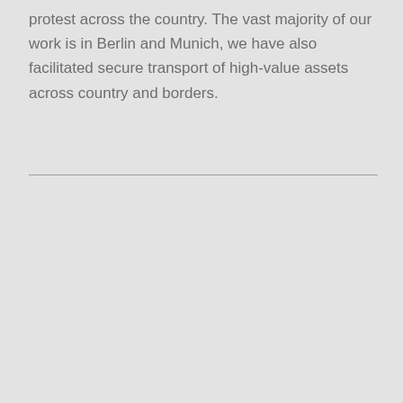protest across the country. The vast majority of our work is in Berlin and Munich, we have also facilitated secure transport of high-value assets across country and borders.